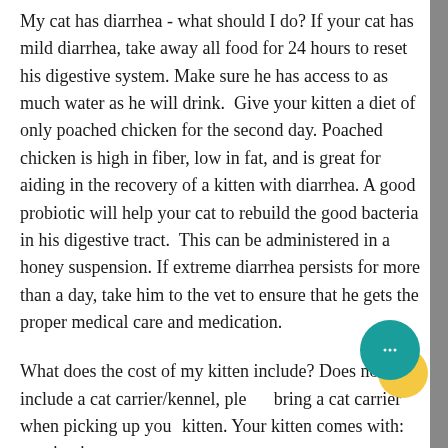My cat has diarrhea - what should I do? If your cat has mild diarrhea, take away all food for 24 hours to reset his digestive system. Make sure he has access to as much water as he will drink.  Give your kitten a diet of only poached chicken for the second day. Poached chicken is high in fiber, low in fat, and is great for aiding in the recovery of a kitten with diarrhea. A good probiotic will help your cat to rebuild the good bacteria in his digestive tract.  This can be administered in a honey suspension. If extreme diarrhea persists for more than a day, take him to the vet to ensure that he gets the proper medical care and medication.
What does the cost of my kitten include? Does not include a cat carrier/kennel, please bring a cat carrier when picking up your kitten. Your kitten comes with: vaccinatio...